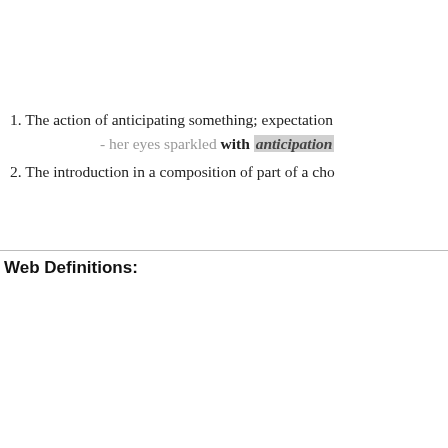1. The action of anticipating something; expectation - her eyes sparkled with anticipation
2. The introduction in a composition of part of a cho
Web Definitions: